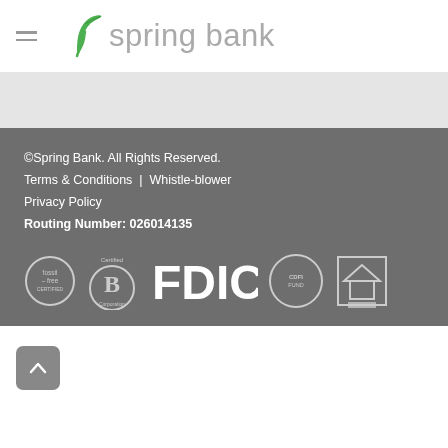spring bank
©Spring Bank. All Rights Reserved. Terms & Conditions | Whistle-blower Privacy Policy Routing Number: 026014135
[Figure (logo): Certification logos: fossil-free certified, Certified B Corporation, FDIC, CDFLEUND, Equal Housing Lender]
[Figure (other): Back to top arrow button]